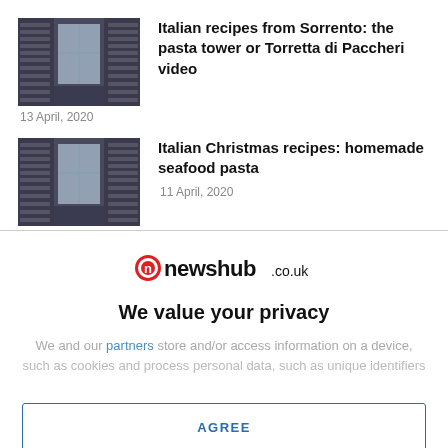Italian recipes from Sorrento: the pasta tower or Torretta di Paccheri video
13 April, 2020
Italian Christmas recipes: homemade seafood pasta
11 April, 2020
[Figure (logo): newshub.co.uk logo with red circular icon]
We value your privacy
We and our partners store and/or access information on a device, such as cookies and process personal data, such as unique identifiers
AGREE
MORE OPTIONS